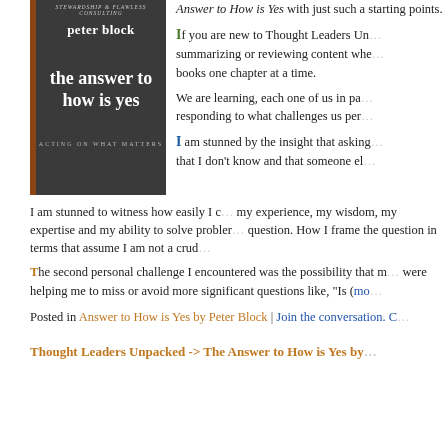[Figure (illustration): Book cover of 'The Answer to How Is Yes' by Peter Block, showing stacked stones on a dark background]
Answer to How is Yes with just such a starting points.
If you are new to Thought Leaders Unpacked, summarizing or reviewing content whe... books one chapter at a time.
We are learning, each one of us in pa... responding to what challenges us per...
I am stunned by the insight that asking... that I don't know and that someone el...
I am stunned to witness how easily I c... my experience, my wisdom, my expertise and my ability to solve proble... question. How I frame the question in terms that assume I am not a crud...
The second personal challenge I encountered was the possibility that m... were helping me to miss or avoid more significant questions like, "Is (mo...
Posted in Answer to How is Yes by Peter Block | Join the conversation. C...
Thought Leaders Unpacked -> The Answer to How is Yes by...